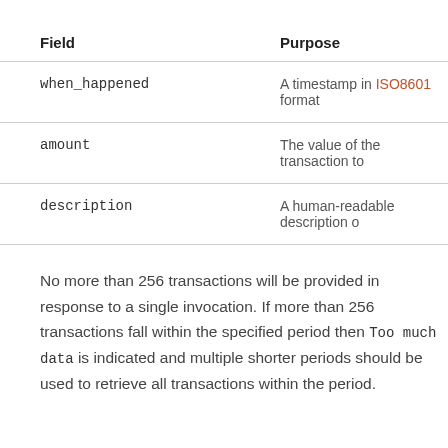| Field | Purpose |
| --- | --- |
| when_happened | A timestamp in ISO8601 format |
| amount | The value of the transaction to |
| description | A human-readable description o |
No more than 256 transactions will be provided in response to a single invocation. If more than 256 transactions fall within the specified period then Too much data is indicated and multiple shorter periods should be used to retrieve all transactions within the period.